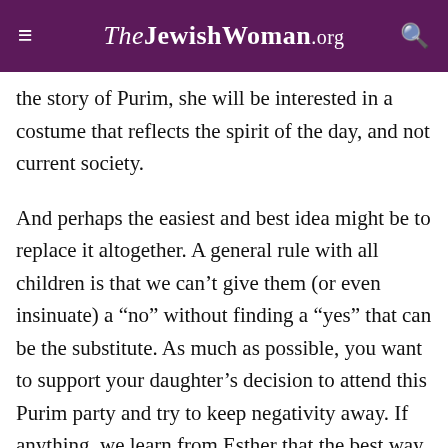TheJewishWoman.org
the story of Purim, she will be interested in a costume that reflects the spirit of the day, and not current society.
And perhaps the easiest and best idea might be to replace it altogether. A general rule with all children is that we can’t give them (or even insinuate) a “no” without finding a “yes” that can be the substitute. As much as possible, you want to support your daughter’s decision to attend this Purim party and try to keep negativity away. If anything, we learn from Esther that the best way of getting rid of a problem is allowing it to reveal itself rather than directly pointing it out. So I think you want to take an Esther approach with this